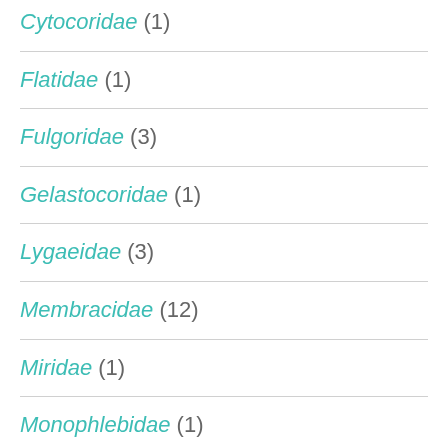Cytocoridae (1)
Flatidae (1)
Fulgoridae (3)
Gelastocoridae (1)
Lygaeidae (3)
Membracidae (12)
Miridae (1)
Monophlebidae (1)
Pentatomidae (7)